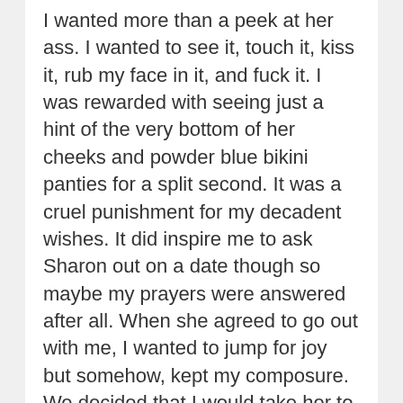I wanted more than a peek at her ass. I wanted to see it, touch it, kiss it, rub my face in it, and fuck it. I was rewarded with seeing just a hint of the very bottom of her cheeks and powder blue bikini panties for a split second. It was a cruel punishment for my decadent wishes. It did inspire me to ask Sharon out on a date though so maybe my prayers were answered after all. When she agreed to go out with me, I wanted to jump for joy but somehow, kept my composure. We decided that I would take her to lunch after my next meeting with her boss.
On our first lunch date, Sharon wore a pair of grey leggings which I hoped she wore because she knew I liked seeing her backside in them but I